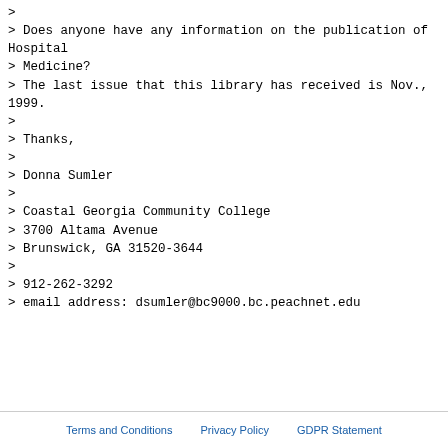> Does anyone have any information on the publication of Hospital
> Medicine?
> The last issue that this library has received is Nov., 1999.
>
> Thanks,
>
> Donna Sumler
>
> Coastal Georgia Community College
> 3700 Altama Avenue
> Brunswick, GA 31520-3644
>
> 912-262-3292
> email address: dsumler@bc9000.bc.peachnet.edu
Terms and Conditions   Privacy Policy   GDPR Statement